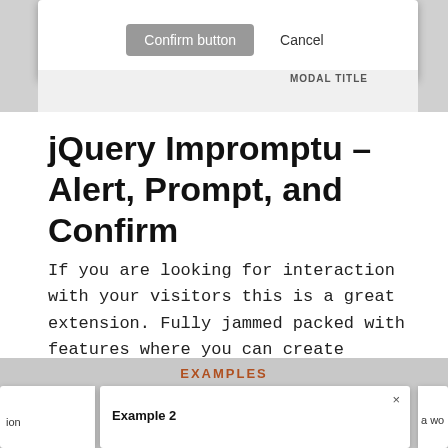[Figure (screenshot): Top screenshot showing a modal dialog with 'Confirm button' and 'Cancel' buttons, and 'MODAL TITLE' text. Purple bar visible on left side.]
jQuery Impromptu – Alert, Prompt, and Confirm
If you are looking for interaction with your visitors this is a great extension. Fully jammed packed with features where you can create awesome forms as well.
Download
[Figure (screenshot): Bottom screenshot showing 'EXAMPLES' heading and a modal dialog with 'Example 2' title and close button.]